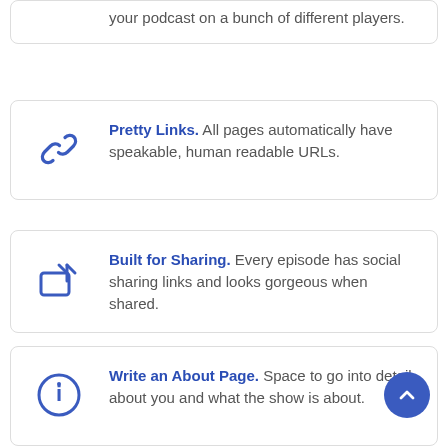your podcast on a bunch of different players.
Pretty Links. All pages automatically have speakable, human readable URLs.
Built for Sharing. Every episode has social sharing links and looks gorgeous when shared.
Write an About Page. Space to go into detail about you and what the show is about.